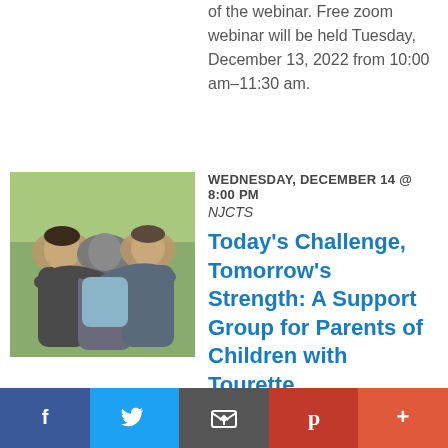of the webinar. Free zoom webinar will be held Tuesday, December 13, 2022 from 10:00 am–11:30 am.
[Figure (photo): Group of people hugging each other outdoors]
WEDNESDAY, DECEMBER 14 @ 8:00 PM
NJCTS
Today's Challenge, Tomorrow's Strength: A Support Group for Parents of Children with Tourette
Our NJCTS parent support group is an avenue for parents who are new to a TS diagnosis to seek support and guidance
Facebook | Twitter | Email | Pinterest | More